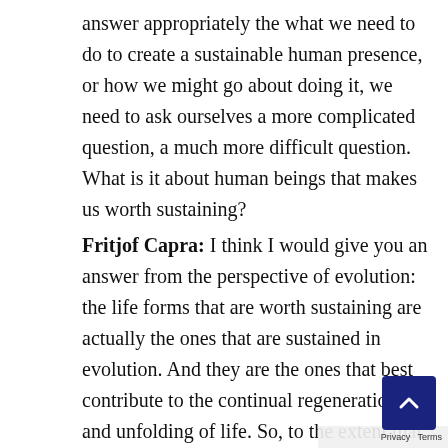answer appropriately the what we need to do to create a sustainable human presence, or how we might go about doing it, we need to ask ourselves a more complicated question, a much more difficult question. What is it about human beings that makes us worth sustaining?
Fritjof Capra: I think I would give you an answer from the perspective of evolution: the life forms that are worth sustaining are actually the ones that are sustained in evolution. And they are the ones that best contribute to the continual regeneration and unfolding of life. So, to the extent that we contribute to that, we are worth sustaining and we will be sustained by nature we do that. To the extent that we are not